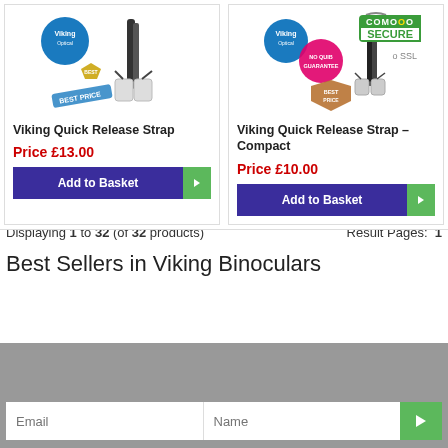[Figure (photo): Product image for Viking Quick Release Strap showing binoculars with strap, Viking Optical logo badge, Best Price badge]
Viking Quick Release Strap
Price £13.00
[Figure (photo): Product image for Viking Quick Release Strap Compact showing binoculars strap, Viking Optical logo, Best Price badge, Comodo Secure SSL badge]
Viking Quick Release Strap – Compact
Price £10.00
Displaying 1 to 32 (of 32 products)    Result Pages:  1
Best Sellers in Viking Binoculars